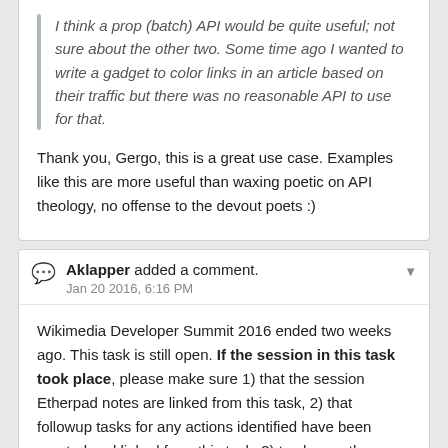I think a prop (batch) API would be quite useful; not sure about the other two. Some time ago I wanted to write a gadget to color links in an article based on their traffic but there was no reasonable API to use for that.
Thank you, Gergo, this is a great use case. Examples like this are more useful than waxing poetic on API theology, no offense to the devout poets :)
Aklapper added a comment. Jan 20 2016, 6:16 PM
Wikimedia Developer Summit 2016 ended two weeks ago. This task is still open. If the session in this task took place, please make sure 1) that the session Etherpad notes are linked from this task, 2) that followup tasks for any actions identified have been created and linked from this task, 3) to change the status of this task to "resolved". If this session did not take place, change the task status to "declined". If this task itself has become a well-defined action which is not finished yet, drag and drop this task into the "Work